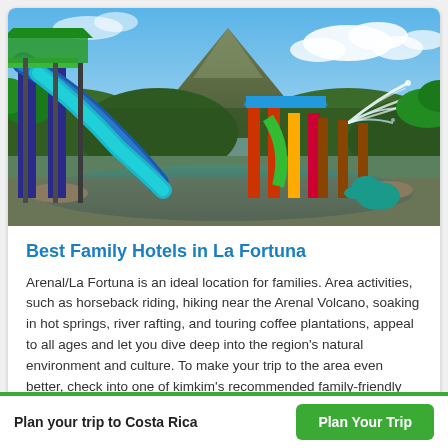[Figure (photo): Water park with colorful water slides and play structures, lush tropical greenery and Arenal Volcano in the background under a partly cloudy blue sky, with water spraying from an attraction.]
Best Family Hotels in La Fortuna
Arenal/La Fortuna is an ideal location for families. Area activities, such as horseback riding, hiking near the Arenal Volcano, soaking in hot springs, river rafting, and touring coffee plantations, appeal to all ages and let you dive deep into the region's natural environment and culture. To make your trip to the area even better, check into one of kimkim's recommended family-friendly hotels.
Plan your trip to Costa Rica
Plan Your Trip